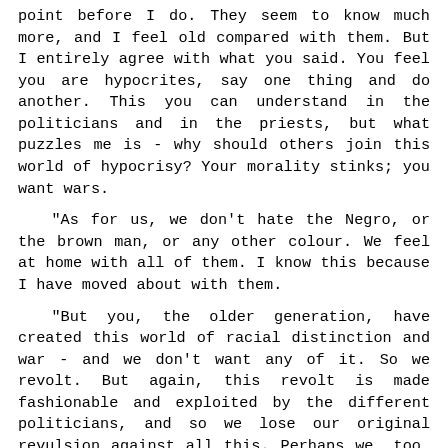point before I do. They seem to know much more, and I feel old compared with them. But I entirely agree with what you said. You feel you are hypocrites, say one thing and do another. This you can understand in the politicians and in the priests, but what puzzles me is - why should others join this world of hypocrisy? Your morality stinks; you want wars.
"As for us, we don't hate the Negro, or the brown man, or any other colour. We feel at home with all of them. I know this because I have moved about with them.
"But you, the older generation, have created this world of racial distinction and war - and we don't want any of it. So we revolt. But again, this revolt is made fashionable and exploited by the different politicians, and so we lose our original revulsion against all this. Perhaps we, too, will become respectable, moral citizens. But now we hate your morality and have no morality at all."
There was a minute or two of silence; and the eucalyptus was still, almost listening to the words going on around the table. The blackbird had gone, and so had the sparrows.
We said: Bravo, you are perfectly right. To deny all morality is to be moral, for the accepted morality is the morality of respectability, and I'm afraid we all crave to be respected - which is to be recognised as good citizens in a rotten society. Respectability is very profitable and ensures you a good job and